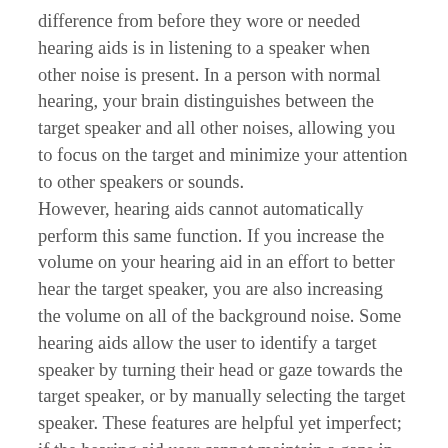difference from before they wore or needed hearing aids is in listening to a speaker when other noise is present. In a person with normal hearing, your brain distinguishes between the target speaker and all other noises, allowing you to focus on the target and minimize your attention to other speakers or sounds. However, hearing aids cannot automatically perform this same function. If you increase the volume on your hearing aid in an effort to better hear the target speaker, you are also increasing the volume on all of the background noise. Some hearing aids allow the user to identify a target speaker by turning their head or gaze towards the target speaker, or by manually selecting the target speaker. These features are helpful yet imperfect; if the hearing aid user cannot maintain a gaze in the direction of the target speaker, does not want to use manual selections, or the target speaker is very close to another speaker, these features come up short.